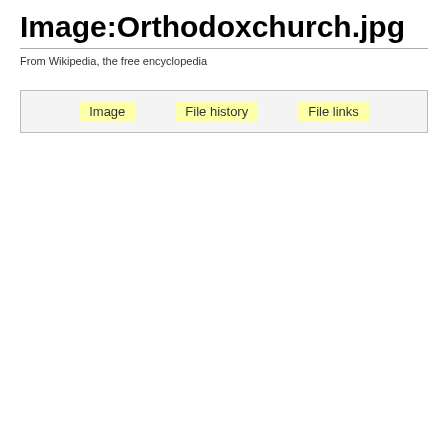Image:Orthodoxchurch.jpg
From Wikipedia, the free encyclopedia
| Image | File history | File links |
| --- | --- | --- |